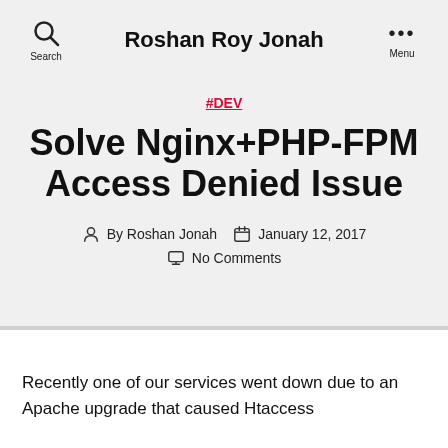Roshan Roy Jonah
#DEV
Solve Nginx+PHP-FPM Access Denied Issue
By Roshan Jonah   January 12, 2017   No Comments
Recently one of our services went down due to an Apache upgrade that caused Htaccess